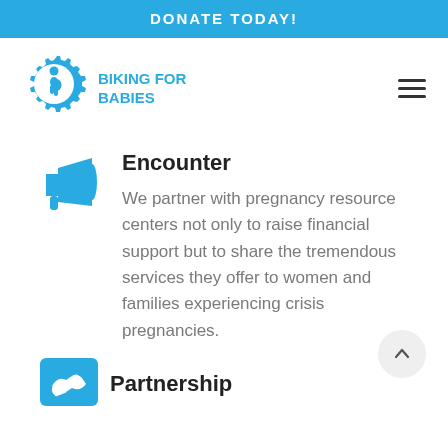DONATE TODAY!
[Figure (logo): Biking for Babies logo — gear with pregnant woman silhouette and text BIKING FOR BABIES]
Encounter
We partner with pregnancy resource centers not only to raise financial support but to share the tremendous services they offer to women and families experiencing crisis pregnancies.
Partnership